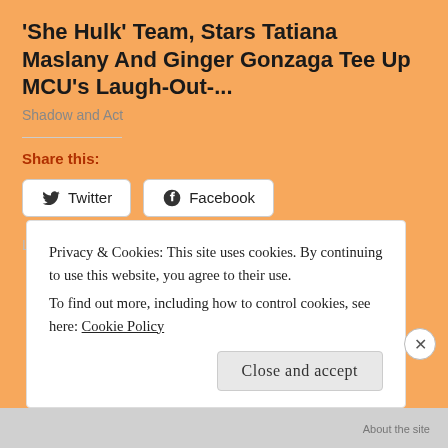'She Hulk' Team, Stars Tatiana Maslany And Ginger Gonzaga Tee Up MCU's Laugh-Out-...
Shadow and Act
Share this:
Twitter
Facebook
Loading...
Privacy & Cookies: This site uses cookies. By continuing to use this website, you agree to their use.
To find out more, including how to control cookies, see here: Cookie Policy
Close and accept